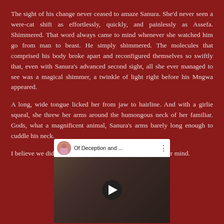The sight of his change never ceased to amaze Sanura. She'd never seen a were-cat shift as effortlessly, quickly, and painlessly as Assefa. Shimmered. That word always came to mind whenever she watched him go from man to beast. He simply shimmered. The molecules that comprised his body broke apart and reconfigured themselves so swiftly that, even with Sanura's advanced second sight, all she ever managed to see was a magical shimmer, a twinkle of light right before his Mngwa appeared.
A long, wide tongue licked her from jaw to hairline. And with a girlie squeal, she threw her arms around the humongous neck of her familiar. Gods, what a magnificent animal, Sanura's arms barely long enough to cuddle his neck.
I believe we did this earlier, sweetheart, Assefa spoke in her mind.
[Figure (screenshot): A YouTube-style video embed showing a video titled 'Of Deception and ...' with a circular avatar thumbnail of a person in colorful clothing, three vertical dots menu icon, and a play button over a dark thumbnail showing two people in an intimate pose.]